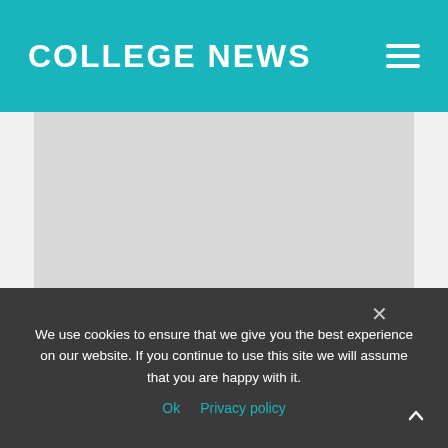COLLEGE NEWS
[Figure (photo): Gray placeholder image area for article photo]
Tennis Star Djokovic Faces Deportation from Australia
We use cookies to ensure that we give you the best experience on our website. If you continue to use this site we will assume that you are happy with it.
Ok   Privacy policy